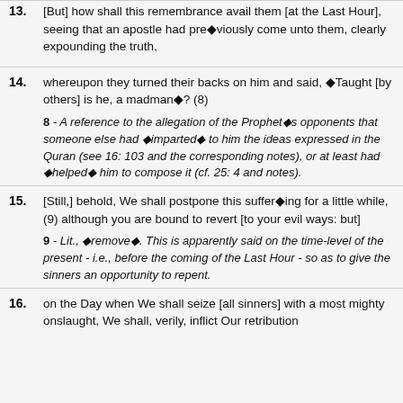13. [But] how shall this remembrance avail them [at the Last Hour], seeing that an apostle had pre�viously come unto them, clearly expounding the truth,
14. whereupon they turned their backs on him and said, �Taught [by others] is he, a madman�? (8)
8 - A reference to the allegation of the Prophet�s opponents that someone else had �imparted� to him the ideas expressed in the Quran (see 16: 103 and the corresponding notes), or at least had �helped� him to compose it (cf. 25: 4 and notes).
15. [Still,] behold, We shall postpone this suffer�ing for a little while, (9) although you are bound to revert [to your evil ways: but]
9 - Lit., �remove�. This is apparently said on the time-level of the present - i.e., before the coming of the Last Hour - so as to give the sinners an opportunity to repent.
16. on the Day when We shall seize [all sinners] with a most mighty onslaught, We shall, verily, inflict Our retribution